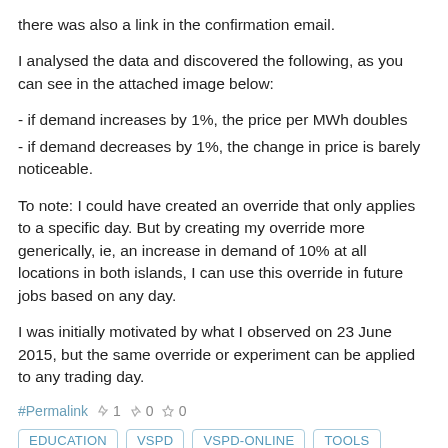there was also a link in the confirmation email.
I analysed the data and discovered the following, as you can see in the attached image below:
- if demand increases by 1%, the price per MWh doubles
- if demand decreases by 1%, the change in price is barely noticeable.
To note: I could have created an override that only applies to a specific day. But by creating my override more generically, ie, an increase in demand of 10% at all locations in both islands, I can use this override in future jobs based on any day.
I was initially motivated by what I observed on 23 June 2015, but the same override or experiment can be applied to any trading day.
#Permalink  👍 1  👎 0  ☆ 0
EDUCATION  VSPD  VSPD-ONLINE  TOOLS
Attached files